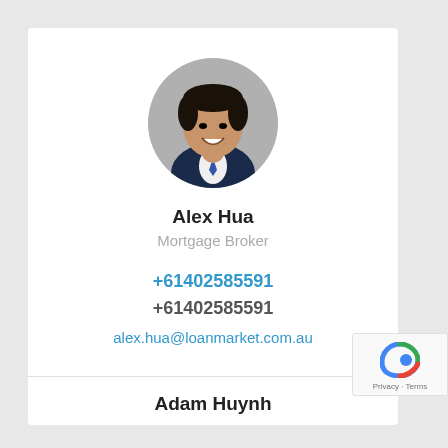[Figure (photo): Circular profile photo of Alex Hua, a man in a suit and tie, smiling]
Alex Hua
Mortgage Broker
+61402585591
+61402585591
alex.hua@loanmarket.com.au
Adam Huynh